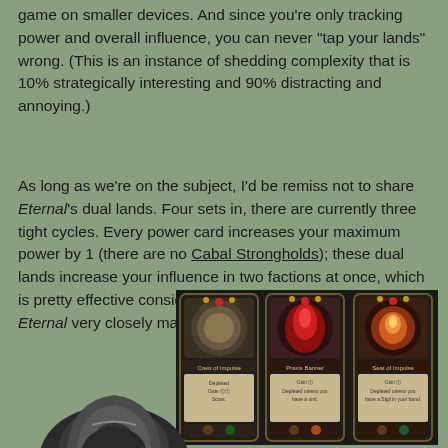game on smaller devices. And since you're only tracking power and overall influence, you can never "tap your lands" wrong. (This is an instance of shedding complexity that is 10% strategically interesting and 90% distracting and annoying.)
As long as we're on the subject, I'd be remiss not to share Eternal's dual lands. Four sets in, there are currently three tight cycles. Every power card increases your maximum power by 1 (there are no Cabal Strongholds); these dual lands increase your influence in two factions at once, which is pretty effective considering that color requirements in Eternal very closely match those in Magic.
[Figure (photo): Three game cards shown side by side: 'Crest of Impulse', 'Praxis Banner', and 'Seat of Impulse' - dark-styled fantasy card game cards with ornate borders, artwork, and text describing their abilities including Depleted, Gain, and Scout mechanics.]
[Figure (photo): Partial view of a fantasy character/creature at the bottom of the page, showing armored helmet/head.]